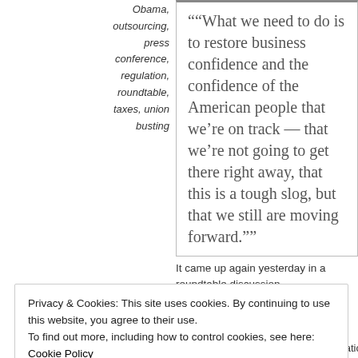Obama, outsourcing, press conference, regulation, roundtable, taxes, union busting
““What we need to do is to restore business confidence and the confidence of the American people that we’re on track — that we’re not going to get there right away, that this is a tough slog, but that we still are moving forward.””
It came up again yesterday in a roundtable discussion
Privacy & Cookies: This site uses cookies. By continuing to use this website, you agree to their use.
To find out more, including how to control cookies, see here: Cookie Policy
Close and accept
Honeywell, where his 2010 compensation topped $30